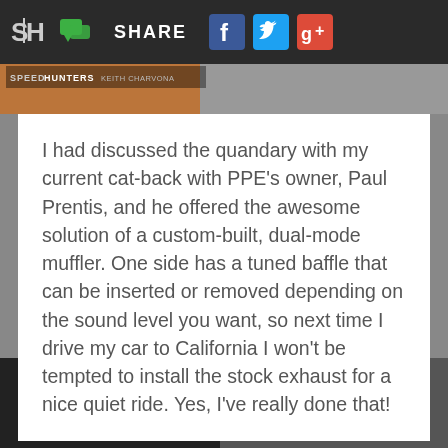SH | SHARE [Facebook] [Twitter] [Google+]
[Figure (screenshot): Speedhunters photo strip with Keith Charvonia credit label and orange/grey background image]
I had discussed the quandary with my current cat-back with PPE's owner, Paul Prentis, and he offered the awesome solution of a custom-built, dual-mode muffler. One side has a tuned baffle that can be inserted or removed depending on the sound level you want, so next time I drive my car to California I won't be tempted to install the stock exhaust for a nice quiet ride. Yes, I've really done that!
[Figure (photo): Black and white photo of car interior/exhaust components at bottom of page]